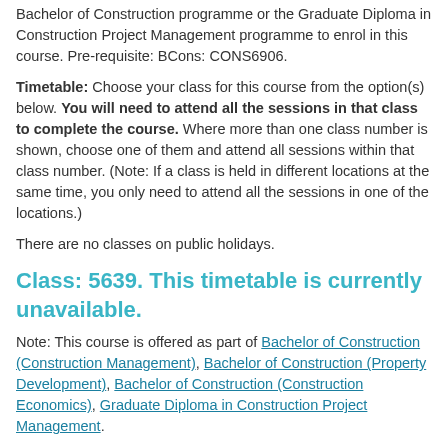Bachelor of Construction programme or the Graduate Diploma in Construction Project Management programme to enrol in this course. Pre-requisite: BCons: CONS6906.
Timetable: Choose your class for this course from the option(s) below. You will need to attend all the sessions in that class to complete the course. Where more than one class number is shown, choose one of them and attend all sessions within that class number. (Note: If a class is held in different locations at the same time, you only need to attend all the sessions in one of the locations.)
There are no classes on public holidays.
Class: 5639. This timetable is currently unavailable.
Note: This course is offered as part of Bachelor of Construction (Construction Management), Bachelor of Construction (Property Development), Bachelor of Construction (Construction Economics), Graduate Diploma in Construction Project Management.